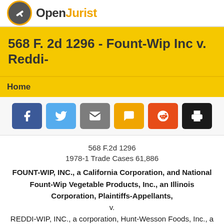OpenJurist
568 F. 2d 1296 - Fount-Wip Inc v. Reddi-
Home
[Figure (other): Social share buttons: Facebook, Twitter, Email, SMS, Reddit, Print]
568 F.2d 1296
1978-1 Trade Cases 61,886
FOUNT-WIP, INC., a California Corporation, and National Fount-Wip Vegetable Products, Inc., an Illinois Corporation, Plaintiffs-Appellants,
v.
REDDI-WIP, INC., a corporation, Hunt-Wesson Foods, Inc., a corporation, Marcus Lipsky, an Individual, Brookhill Farms, Inc., a corporation, Farm Fresh Sales, Inc., a corporation,